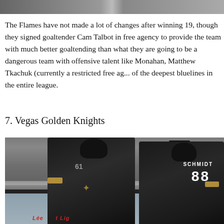[Figure (photo): Partial photo at top of page showing hockey players, cropped — only the bottom strip is visible]
The Flames have not made a lot of changes after winning 19, though they signed goaltender Cam Talbot in free agency to provide the team with much better goaltending than what they are going to be a dangerous team with offensive talent like Monahan, Matthew Tkachuk (currently a restricted free agent) of the deepest bluelines in the entire league.
7. Vegas Golden Knights
[Figure (photo): Photo of Vegas Golden Knights hockey players celebrating on ice. Player on left wearing #61 is yelling/celebrating. Player on right wears #88 jersey with SCHMIDT on back. Arena crowd visible in background.]